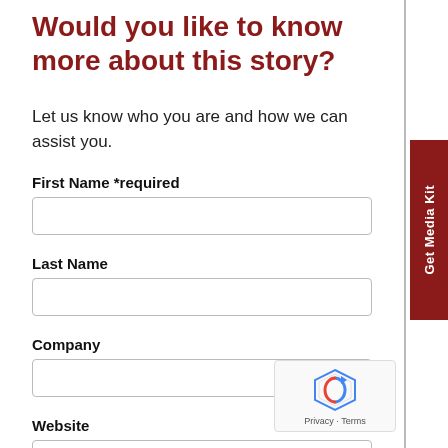Would you like to know more about this story?
Let us know who you are and how we can assist you.
First Name *required
Last Name
Company
Website
Email *required